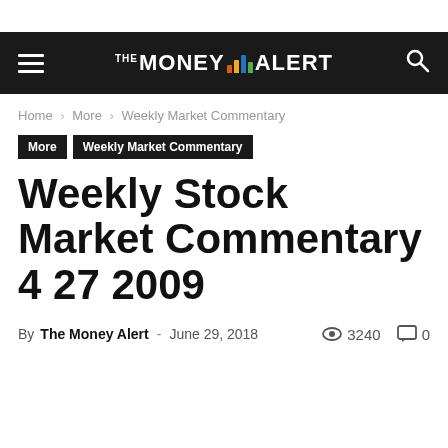THE MONEY ALERT
Home › More › Weekly Market Commentary
More  Weekly Market Commentary
Weekly Stock Market Commentary 4 27 2009
By The Money Alert - June 29, 2018  3240  0